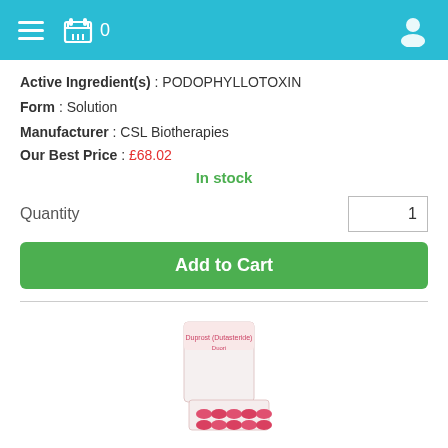[Figure (screenshot): Mobile pharmacy app header bar with hamburger menu, shopping cart icon with count 0, and user profile icon on teal/cyan background]
Active Ingredient(s) : PODOPHYLLOTOXIN
Form : Solution
Manufacturer : CSL Biotherapies
Our Best Price : £68.02
In stock
Quantity   1
Add to Cart
[Figure (photo): Product image of Duprost Dutasteride 0.5mg capsules box with blister pack showing pink/red capsules]
Duprost (Dutasteride) - 0.5mg (10 Capsules)
Active Ingredient(s) : DUTASTERIDE
Form : Capsule
Manufacturer : Cipla